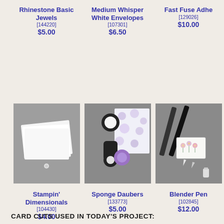Rhinestone Basic Jewels
[144220]
$5.00
Medium Whisper White Envelopes
[107301]
$6.50
Fast Fuse Adhe
[129026]
$10.00
[Figure (photo): Photo of white envelopes on gray background]
[Figure (photo): Photo of sponge daubers with polka dot envelope on gray background]
[Figure (photo): Photo of blender pens with small floral card on gray background]
Stampin' Dimensionals
[104430]
$4.00
Sponge Daubers
[133773]
$5.00
Blender Pen
[102845]
$12.00
CARD CUTS USED IN TODAY'S PROJECT: